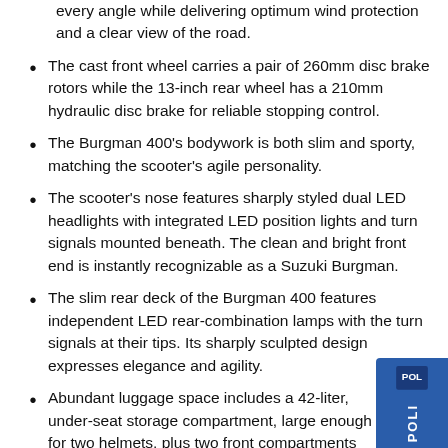every angle while delivering optimum wind protection and a clear view of the road.
The cast front wheel carries a pair of 260mm disc brake rotors while the 13-inch rear wheel has a 210mm hydraulic disc brake for reliable stopping control.
The Burgman 400's bodywork is both slim and sporty, matching the scooter's agile personality.
The scooter's nose features sharply styled dual LED headlights with integrated LED position lights and turn signals mounted beneath. The clean and bright front end is instantly recognizable as a Suzuki Burgman.
The slim rear deck of the Burgman 400 features independent LED rear-combination lamps with the turn signals at their tips. Its sharply sculpted design expresses elegance and agility.
Abundant luggage space includes a 42-liter, under-seat storage compartment, large enough for two helmets, plus two front compartments for small personal it... Convenient switchable under-seat lights illuminate entire storage area. Helmet sizes and shapes vary...